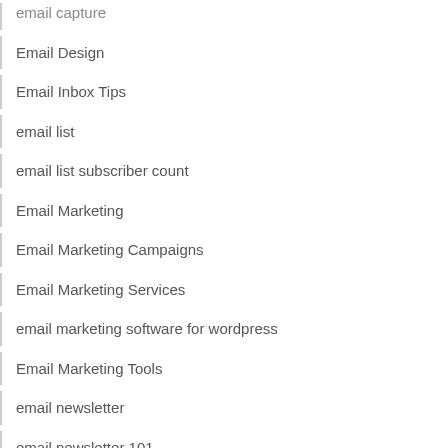email capture
Email Design
Email Inbox Tips
email list
email list subscriber count
Email Marketing
Email Marketing Campaigns
Email Marketing Services
email marketing software for wordpress
Email Marketing Tools
email newsletter
email newsletter 101
email newsletters